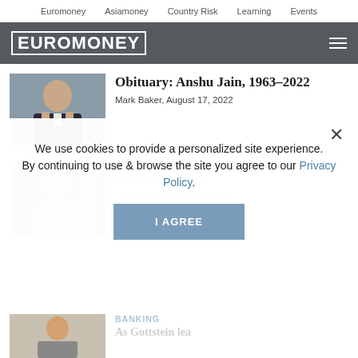Euromoney   Asiamoney   Country Risk   Learning   Events
Obituary: Anshu Jain, 1963–2022
Mark Baker, August 17, 2022
BANKING
ECB board member ... to some European banks ... to grow
We use cookies to provide a personalized site experience.
By continuing to use & browse the site you agree to our Privacy Policy.
BANKING